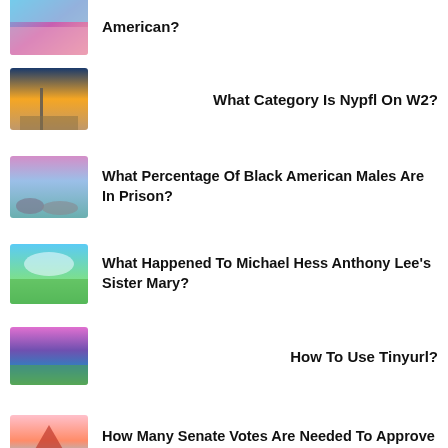[Figure (photo): Partially visible nature/floral image thumbnail at top]
American?
[Figure (photo): Sunset over water/pier landscape thumbnail]
What Category Is Nypfl On W2?
[Figure (photo): Rocky shoreline with water and pink sky thumbnail]
What Percentage Of Black American Males Are In Prison?
[Figure (photo): Green meadow with clouds blue sky thumbnail]
What Happened To Michael Hess Anthony Lee's Sister Mary?
[Figure (photo): Purple/pink sunset over field landscape thumbnail]
How To Use Tinyurl?
[Figure (photo): Mountain with red peak reflected in lake thumbnail]
How Many Senate Votes Are Needed To Approve A Supreme Court Nominee?
[Figure (photo): Silhouette tree against sunset sky thumbnail]
What Is The Capital Gains Tax Rate For Irrevocable Trusts?